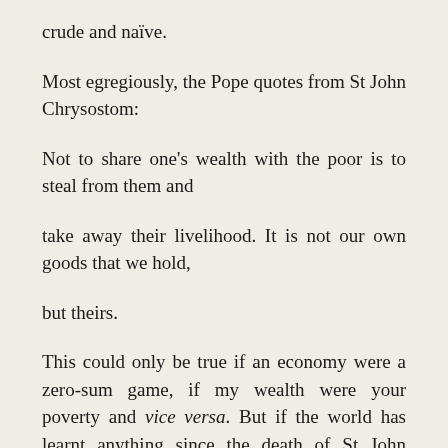crude and naïve.
Most egregiously, the Pope quotes from St John Chrysostom:
Not to share one's wealth with the poor is to steal from them and
take away their livelihood. It is not our own goods that we hold,
but theirs.
This could only be true if an economy were a zero-sum game, if my wealth were your poverty and vice versa. But if the world has learnt anything since the death of St John Chrysostom one thousand six hundred years ago, it is that an